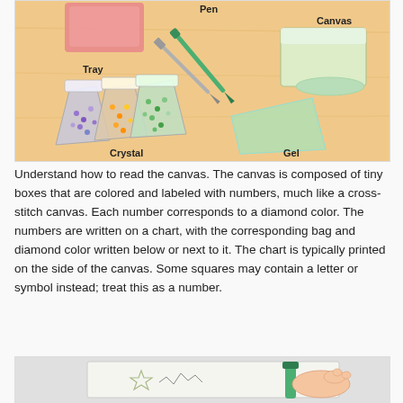[Figure (illustration): Illustration of diamond painting supplies on a wooden surface: pink tray (top-left, labeled 'Tray'), tweezers/pen tool (center, labeled 'Pen'), rolled green canvas (right, labeled 'Canvas'), three small plastic bags of colored crystals in purple, orange, and green (labeled 'Crystal'), and a green gel pad (labeled 'Gel').]
Understand how to read the canvas. The canvas is composed of tiny boxes that are colored and labeled with numbers, much like a cross-stitch canvas. Each number corresponds to a diamond color. The numbers are written on a chart, with the corresponding bag and diamond color written below or next to it. The chart is typically printed on the side of the canvas. Some squares may contain a letter or symbol instead; treat this as a number.
[Figure (illustration): Partial illustration showing a hand holding a green pen/applicator tool over a diamond painting canvas with a star pattern, partially visible at the bottom of the page.]